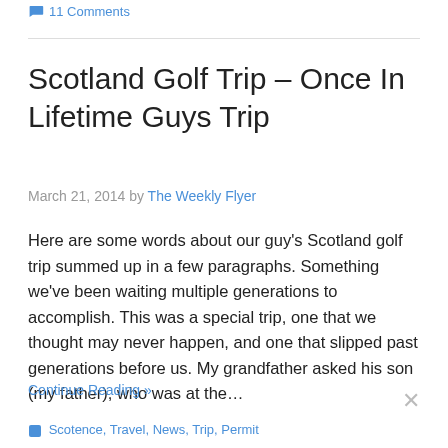11 Comments
Scotland Golf Trip – Once In Lifetime Guys Trip
March 21, 2014 by The Weekly Flyer
Here are some words about our guy's Scotland golf trip summed up in a few paragraphs. Something we've been waiting multiple generations to accomplish. This was a special trip, one that we thought may never happen, and one that slipped past generations before us. My grandfather asked his son (my father), who was at the…
Continue Reading »